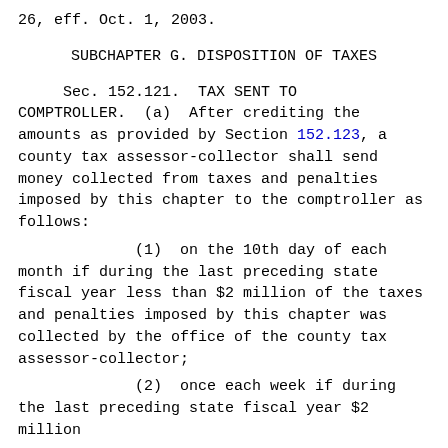26, eff. Oct. 1, 2003.
SUBCHAPTER G. DISPOSITION OF TAXES
Sec. 152.121.  TAX SENT TO COMPTROLLER.  (a)  After crediting the amounts as provided by Section 152.123, a county tax assessor-collector shall send money collected from taxes and penalties imposed by this chapter to the comptroller as follows:
(1)  on the 10th day of each month if during the last preceding state fiscal year less than $2 million of the taxes and penalties imposed by this chapter was collected by the office of the county tax assessor-collector;
(2)  once each week if during the last preceding state fiscal year $2 million